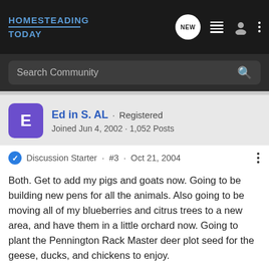HOMESTEADING TODAY
Search Community
Ed in S. AL · Registered
Joined Jun 4, 2002 · 1,052 Posts
Discussion Starter · #3 · Oct 21, 2004
Both. Get to add my pigs and goats now. Going to be building new pens for all the animals. Also going to be moving all of my blueberries and citrus trees to a new area, and have them in a little orchard now. Going to plant the Pennington Rack Master deer plot seed for the geese, ducks, and chickens to enjoy.
Scared the poor young feller doing the clearing today. He knocked over 3 fence post along the back fence line today. He came and told me about them. So I handed him the post hole diggers, and told him to get busy. Was just kidding him. Got